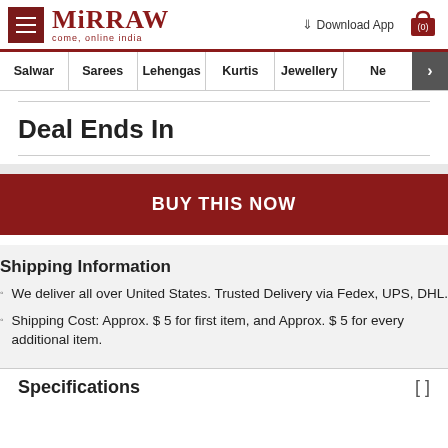Mirraw — come, online india | Download App | Cart (0)
Salwar | Sarees | Lehengas | Kurtis | Jewellery | Ne >
Deal Ends In
BUY THIS NOW
Shipping Information
We deliver all over United States. Trusted Delivery via Fedex, UPS, DHL.
Shipping Cost: Approx. $ 5 for first item, and Approx. $ 5 for every additional item.
Specifications